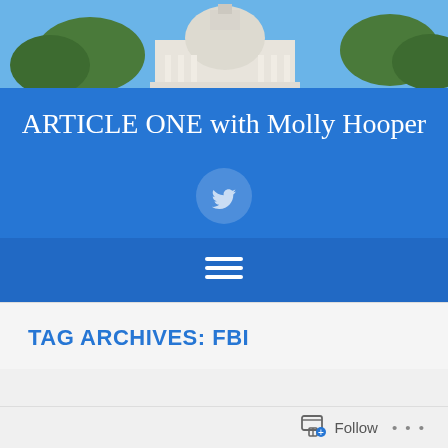[Figure (photo): Capitol building photograph with blue sky and trees, used as header background]
ARTICLE ONE with Molly Hooper
[Figure (illustration): Twitter bird icon inside a semi-transparent circle on blue background]
[Figure (illustration): Hamburger menu icon (three horizontal white lines) on blue background]
TAG ARCHIVES: FBI
Follow ...